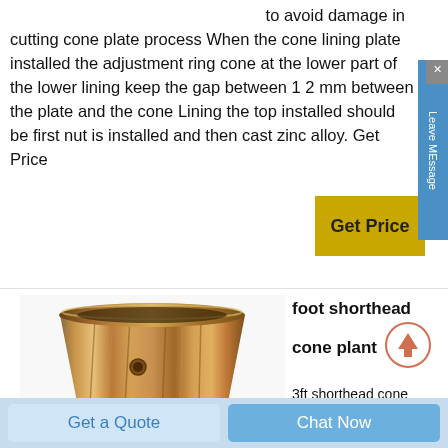to avoid damage in cutting cone plate process When the cone lining plate installed the adjustment ring cone at the lower part of the lower lining keep the gap between 1 2 mm between the plate and the cone Lining the top installed should be first nut is installed and then cast zinc alloy. Get Price
[Figure (illustration): Yellow Get Price button]
[Figure (photo): Metal cylindrical cone crusher part - copper/bronze colored bowl liner]
foot shorthead cone plant
3ft shorthead cone crusher. Feb 19, 2021 Shorthead and standard head
Get a Quote
Chat Now